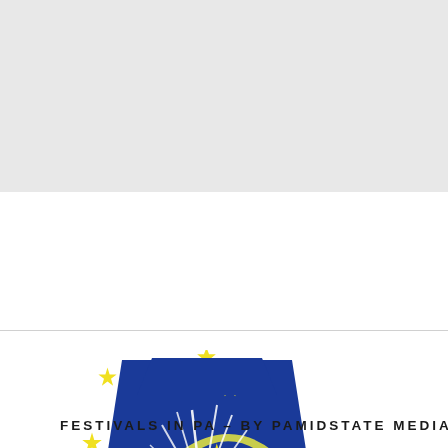[Figure (logo): Festivals in PA logo: a Pennsylvania keystone shape in dark blue, featuring white fireworks, a yellow crescent moon, and yellow stars scattered around the keystone.]
FESTIVALS IN PA – BY PAMIDSTATE MEDIA